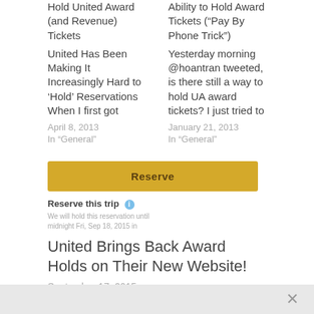Hold United Award (and Revenue) Tickets
United Has Been Making It Increasingly Hard to 'Hold' Reservations When I first got
April 8, 2013
In "General"
Ability to Hold Award Tickets (“Pay By Phone Trick”)
Yesterday morning @hoantran tweeted, is there still a way to hold UA award tickets? I just tried to
January 21, 2013
In "General"
[Figure (screenshot): A yellow 'Reserve' button UI element with 'Reserve this trip' label, info icon, and subtext: 'We will hold this reservation until midnight Fri, Sep 18, 2015 in']
United Brings Back Award Holds on Their New Website!
September 17, 2015
In "General"